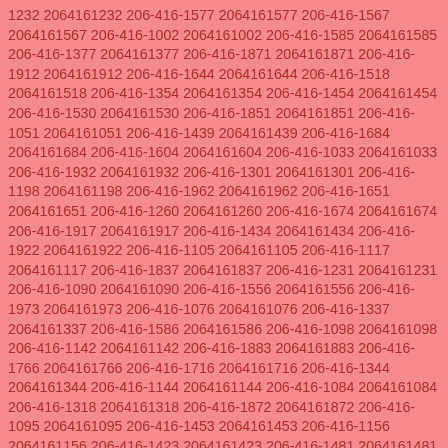1232 2064161232 206-416-1577 2064161577 206-416-1567 2064161567 206-416-1002 2064161002 206-416-1585 2064161585 206-416-1377 2064161377 206-416-1871 2064161871 206-416-1912 2064161912 206-416-1644 2064161644 206-416-1518 2064161518 206-416-1354 2064161354 206-416-1454 2064161454 206-416-1530 2064161530 206-416-1851 2064161851 206-416-1051 2064161051 206-416-1439 2064161439 206-416-1684 2064161684 206-416-1604 2064161604 206-416-1033 2064161033 206-416-1932 2064161932 206-416-1301 2064161301 206-416-1198 2064161198 206-416-1962 2064161962 206-416-1651 2064161651 206-416-1260 2064161260 206-416-1674 2064161674 206-416-1917 2064161917 206-416-1434 2064161434 206-416-1922 2064161922 206-416-1105 2064161105 206-416-1117 2064161117 206-416-1837 2064161837 206-416-1231 2064161231 206-416-1090 2064161090 206-416-1556 2064161556 206-416-1973 2064161973 206-416-1076 2064161076 206-416-1337 2064161337 206-416-1586 2064161586 206-416-1098 2064161098 206-416-1142 2064161142 206-416-1883 2064161883 206-416-1766 2064161766 206-416-1716 2064161716 206-416-1344 2064161344 206-416-1144 2064161144 206-416-1084 2064161084 206-416-1318 2064161318 206-416-1872 2064161872 206-416-1095 2064161095 206-416-1453 2064161453 206-416-1156 2064161156 206-416-1423 2064161423 206-416-1481 2064161481 206-416-1637 2064161637 206-416-1021 2064161021 206-416-1736 2064161736 206-416-1191 2064161191 206-416-1152 2064161152 206-416-1979 2064161979 206-416-1614 2064161614 206-416-1038 2064161038 206-416-1434 2064161434 206-416-